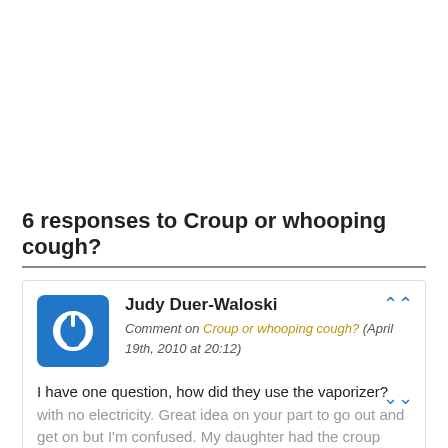6 responses to Croup or whooping cough?
Judy Duer-Waloski
Comment on Croup or whooping cough? (April 19th, 2010 at 20:12)
I have one question, how did they use the vaporizer? with no electricity. Great idea on your part to go out and get on but I'm confused. My daughter had the croup